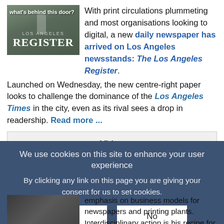[Figure (photo): Photo of the Los Angeles Register newspaper building entrance with 'What's behind this door?' overlay text and LOS ANGELES REGISTER masthead]
With print circulations plummeting and most organisations looking to digital, a new daily newspaper has arrived on Los Angeles newsstands: The Los Angeles Register. Launched on Wednesday, the new centre-right paper looks to challenge the dominance of the Los Angeles Times in the city, even as its rival sees a drop in readership. Read more ...
Video
Douglas Grant   2014-04-17 13:17
We use cookies on this site to enhance your user experience
By clicking any link on this page you are giving your consent for us to set cookies.
OK   No
emphasis on business models for newspapers and printing plants. Interdisciplinary action is his recipe for